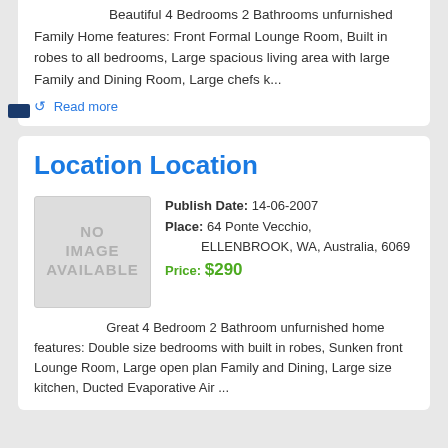Beautiful 4 Bedrooms 2 Bathrooms unfurnished Family Home features: Front Formal Lounge Room, Built in robes to all bedrooms, Large spacious living area with large Family and Dining Room, Large chefs k...
Read more
Location Location
Publish Date: 14-06-2007
Place: 64 Ponte Vecchio, ELLENBROOK, WA, Australia, 6069
Price: $290
Great 4 Bedroom 2 Bathroom unfurnished home features: Double size bedrooms with built in robes, Sunken front Lounge Room, Large open plan Family and Dining, Large size kitchen, Ducted Evaporative Air ...